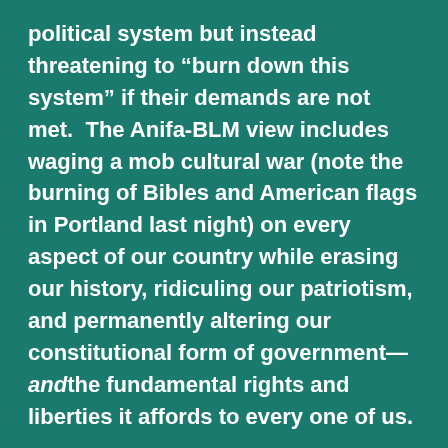political system but instead threatening to “burn down this system” if their demands are not met.  The Anifa-BLM view includes waging a mob cultural war (note the burning of Bibles and American flags in Portland last night) on every aspect of our country while erasing our history, ridiculing our patriotism, and permanently altering our constitutional form of government—andthe fundamental rights and liberties it affords to every one of us.
We cannot perfect our union if we destroy its foundations.  That is why this uprising and lawlessness must stop—it threatens our rights and liberties and also prevents the positive work we must continue to do to achieve the “perfection” our Framers, and we, ourselves, envision.